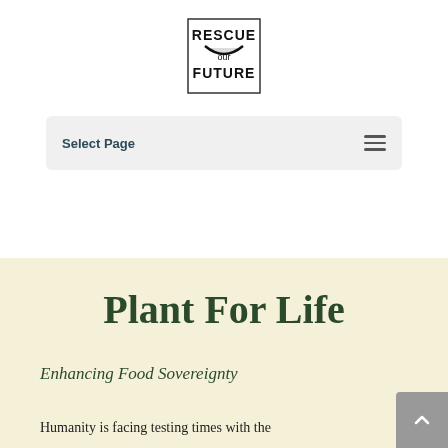[Figure (logo): Rescue Our Future logo — text 'RESCUE our FUTURE' with a stylized crescent/bowl shape beneath 'RESCUE']
Select Page
Plant For Life
Enhancing Food Sovereignty
Humanity is facing testing times with the